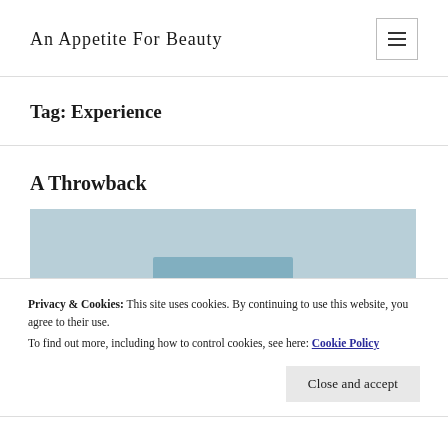An Appetite For Beauty
Tag: Experience
A Throwback
[Figure (photo): Partial view of a coastal or harbour scene with blue sky, partially visible at the bottom of the page]
Privacy & Cookies: This site uses cookies. By continuing to use this website, you agree to their use.
To find out more, including how to control cookies, see here: Cookie Policy
Close and accept